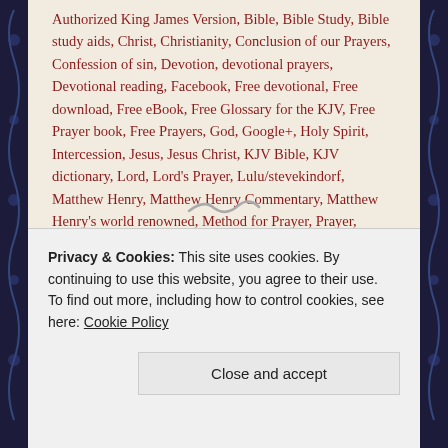Authorized King James Version, Bible, Bible Study, Bible study aids, Christ, Christianity, Conclusion of our Prayers, Confession of sin, Devotion, devotional prayers, Devotional reading, Facebook, Free devotional, Free download, Free eBook, Free Glossary for the KJV, Free Prayer book, Free Prayers, God, Google+, Holy Spirit, Intercession, Jesus, Jesus Christ, KJV Bible, KJV dictionary, Lord, Lord's Prayer, Lulu/stevekindorf, Matthew Henry, Matthew Henry Commentary, Matthew Henry's world renowned, Method for Prayer, Prayer, prayer book, Praying, Psalm 119, Puritan, Puritan devotions, Puritan prayers, Religion and Spirituality, Sola, Son of God, Study Bible, Thanksgiving, Tools
Privacy & Cookies: This site uses cookies. By continuing to use this website, you agree to their use. To find out more, including how to control cookies, see here: Cookie Policy
Close and accept